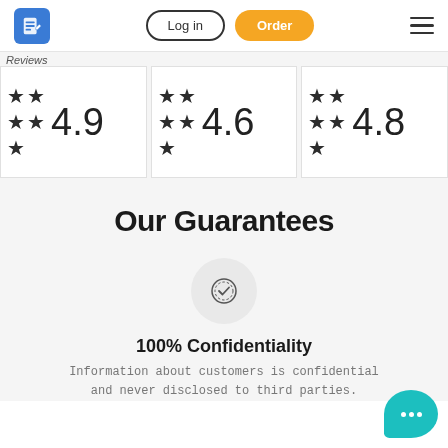Log in | Order
[Figure (infographic): Three review rating cards showing ratings: 4.9 (5 stars), 4.6 (5 stars), 4.8 (5 stars) with a 'Reviews' label]
Our Guarantees
[Figure (infographic): Circular badge/seal icon with a checkmark inside]
100% Confidentiality
Information about customers is confidential and never disclosed to third parties.